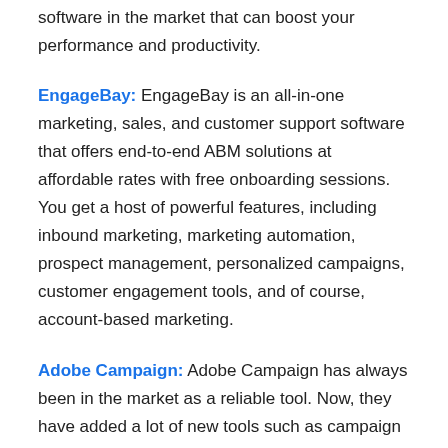software in the market that can boost your performance and productivity.
EngageBay: EngageBay is an all-in-one marketing, sales, and customer support software that offers end-to-end ABM solutions at affordable rates with free onboarding sessions. You get a host of powerful features, including inbound marketing, marketing automation, prospect management, personalized campaigns, customer engagement tools, and of course, account-based marketing.
Adobe Campaign: Adobe Campaign has always been in the market as a reliable tool. Now, they have added a lot of new tools such as campaign creations for mobile or desktop marketing projects, email campaigns, and overall goal fulfillment.
6Sense: The systems are powered with patent-protected predictions, which helps determine who is in an active buying...